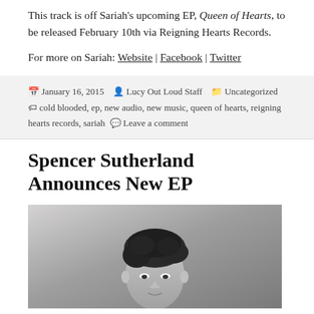This track is off Sariah's upcoming EP, Queen of Hearts, to be released February 10th via Reigning Hearts Records.
For more on Sariah: Website | Facebook | Twitter
January 16, 2015   Lucy Out Loud Staff   Uncategorized   cold blooded, ep, new audio, new music, queen of hearts, reigning hearts records, sariah   Leave a comment
Spencer Sutherland Announces New EP
[Figure (photo): Black and white portrait photo of Spencer Sutherland, a young man with dark tousled hair, looking slightly downward]